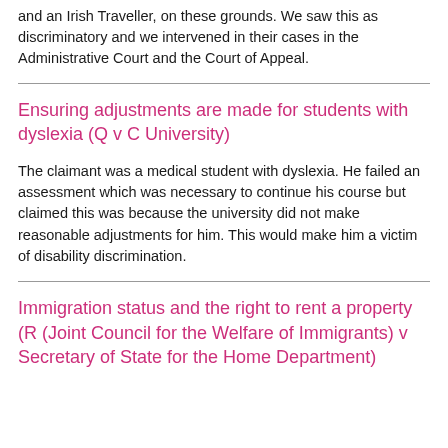and an Irish Traveller, on these grounds. We saw this as discriminatory and we intervened in their cases in the Administrative Court and the Court of Appeal.
Ensuring adjustments are made for students with dyslexia (Q v C University)
The claimant was a medical student with dyslexia. He failed an assessment which was necessary to continue his course but claimed this was because the university did not make reasonable adjustments for him. This would make him a victim of disability discrimination.
Immigration status and the right to rent a property (R (Joint Council for the Welfare of Immigrants) v Secretary of State for the Home Department)